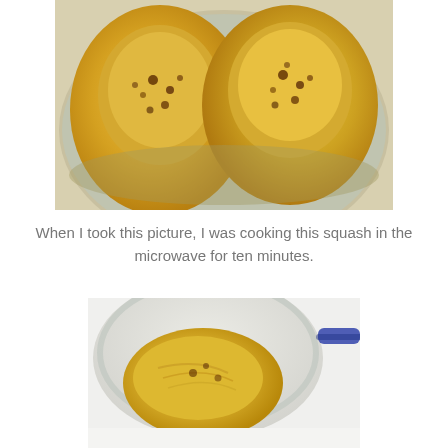[Figure (photo): Two halves of cooked spaghetti squash with spices, sitting in a glass baking dish, viewed from above.]
When I took this picture, I was cooking this squash in the microwave for ten minutes.
[Figure (photo): Close-up of cooked squash flesh scooped into a glass bowl, showing yellow stringy texture with a blue-handled utensil visible.]